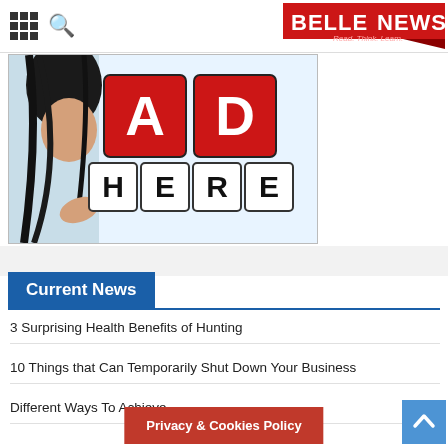BELLENEWS - Read. Think. Learn.
[Figure (photo): Advertisement placeholder image showing a woman peeking around the edge next to large 3D block letter cubes spelling 'AD HERE' in red and black/white]
Current News
3 Surprising Health Benefits of Hunting
10 Things that Can Temporarily Shut Down Your Business
Different Ways To Achieve
Privacy & Cookies Policy